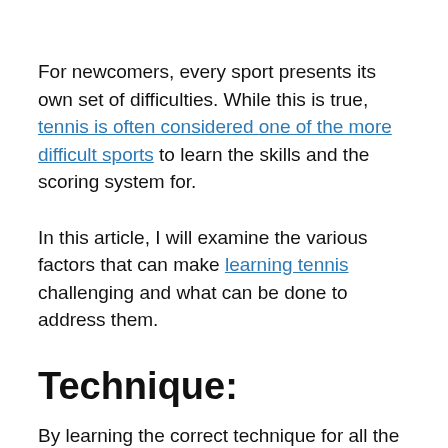For newcomers, every sport presents its own set of difficulties. While this is true, tennis is often considered one of the more difficult sports to learn the skills and the scoring system for.
In this article, I will examine the various factors that can make learning tennis challenging and what can be done to address them.
Technique:
By learning the correct technique for all the